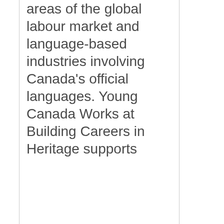areas of the global labour market and language-based industries involving Canada's official languages. Young Canada Works at Building Careers in Heritage supports